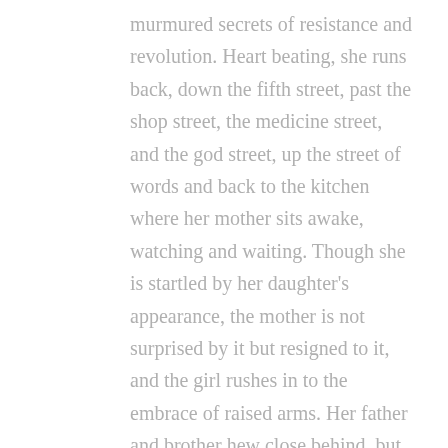murmured secrets of resistance and revolution. Heart beating, she runs back, down the fifth street, past the shop street, the medicine street, and the god street, up the street of words and back to the kitchen where her mother sits awake, watching and waiting. Though she is startled by her daughter's appearance, the mother is not surprised by it but resigned to it, and the girl rushes in to the embrace of raised arms. Her father and brother hew close behind, but they did not see her